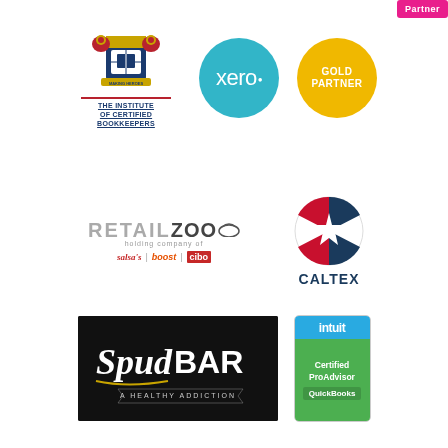[Figure (logo): Pink 'Partner' badge in top right corner]
[Figure (logo): The Institute of Certified Bookkeepers crest logo with red lions and shield, text 'THE INSTITUTE OF CERTIFIED BOOKKEEPERS']
[Figure (logo): Xero logo - cyan/teal circle with white 'xero' text]
[Figure (logo): Xero Gold Partner - gold/yellow circle with white 'GOLD PARTNER' text]
[Figure (logo): RetailZoo logo - holding company of Salsa's, Boost, Cibo]
[Figure (logo): Caltex logo with star and company name]
[Figure (logo): SpudBar 'A Healthy Addiction' logo on black background]
[Figure (logo): Intuit Certified ProAdvisor QuickBooks badge]